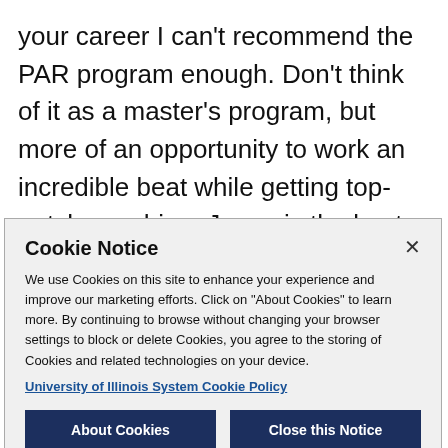your career I can't recommend the PAR program enough. Don't think of it as a master's program, but more of an opportunity to work an incredible beat while getting top-notch coaching. Jason is the best journalism professor I've ever had. He is knowledgeable,
Cookie Notice
We use Cookies on this site to enhance your experience and improve our marketing efforts. Click on "About Cookies" to learn more. By continuing to browse without changing your browser settings to block or delete Cookies, you agree to the storing of Cookies and related technologies on your device.
University of Illinois System Cookie Policy
About Cookies
Close this Notice